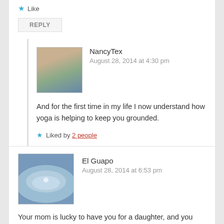★ Like
REPLY
NancyTex
August 28, 2014 at 4:30 pm
And for the first time in my life I now understand how yoga is helping to keep you grounded.
★ Liked by 2 people
El Guapo
August 28, 2014 at 6:53 pm
Your mom is lucky to have you for a daughter, and you and your husband are lucky to have each other for this.